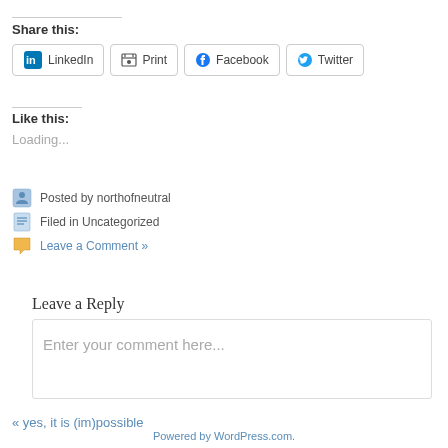Share this:
LinkedIn  Print  Facebook  Twitter
Like this:
Loading...
Posted by northofneutral
Filed in Uncategorized
Leave a Comment »
Leave a Reply
Enter your comment here...
« yes, it is (im)possible
Powered by WordPress.com.